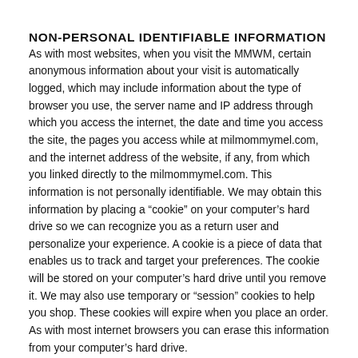NON-PERSONAL IDENTIFIABLE INFORMATION
As with most websites, when you visit the MMWM, certain anonymous information about your visit is automatically logged, which may include information about the type of browser you use, the server name and IP address through which you access the internet, the date and time you access the site, the pages you access while at milmommymel.com, and the internet address of the website, if any, from which you linked directly to the milmommymel.com. This information is not personally identifiable. We may obtain this information by placing a “cookie” on your computer’s hard drive so we can recognize you as a return user and personalize your experience. A cookie is a piece of data that enables us to track and target your preferences. The cookie will be stored on your computer’s hard drive until you remove it. We may also use temporary or “session” cookies to help you shop. These cookies will expire when you place an order. As with most internet browsers you can erase this information from your computer’s hard drive.